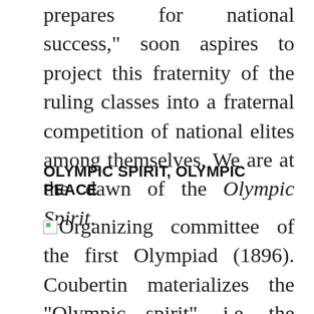prepares for national success," soon aspires to project this fraternity of the ruling classes into a fraternal competition of national elites among themselves. We are at the dawn of the Olympic Spirit.
OLYMPIC SPIRIT, OLYMPIC PEACE
Organizing committee of the first Olympiad (1896). Coubertin materializes the "Olympic spirit", i.e. the fraternal competition between the "fratrias" that university sport